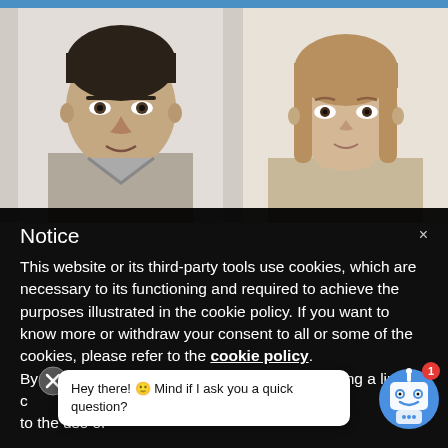[Figure (photo): Two side-by-side headshot photos of people (male left, female right) against light backgrounds, partially visible]
Notice
This website or its third-party tools use cookies, which are necessary to its functioning and required to achieve the purposes illustrated in the cookie policy. If you want to know more or withdraw your consent to all or some of the cookies, please refer to the cookie policy. By closing this banner, scrolling this page, clicking a link or continuing to browse otherwise, you agree to the use of
[Figure (screenshot): Chatbot popup: robot icon with notification badge (1), speech bubble saying 'Hey there! 🙂 Mind if I ask you a quick question?', close X button]